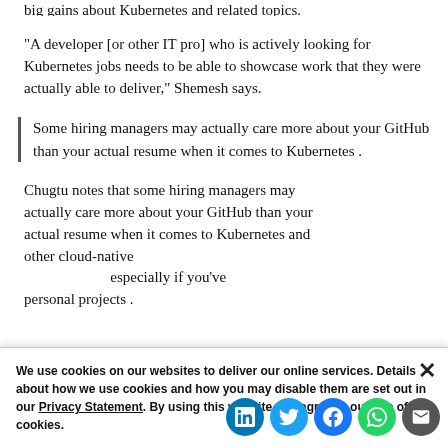big gains about Kubernetes and related topics.
“A developer [or other IT pro] who is actively looking for Kubernetes jobs needs to be able to showcase work that they were actually able to deliver,” Shemesh says.
Some hiring managers may actually care more about your GitHub than your actual resume when it comes to Kubernetes .
Chugtu notes that some hiring managers may actually care more about your GitHub than your actual resume when it comes to Kubernetes and other cloud-native...especially if you’ve personal projects .
We use cookies on our websites to deliver our online services. Details about how we use cookies and how you may disable them are set out in our Privacy Statement. By using this website you agree to our use of cookies.